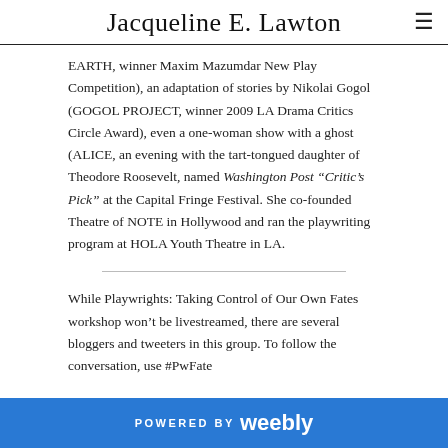Jacqueline E. Lawton
EARTH, winner Maxim Mazumdar New Play Competition), an adaptation of stories by Nikolai Gogol (GOGOL PROJECT, winner 2009 LA Drama Critics Circle Award), even a one-woman show with a ghost (ALICE, an evening with the tart-tongued daughter of Theodore Roosevelt, named Washington Post “Critic’s Pick” at the Capital Fringe Festival. She co-founded Theatre of NOTE in Hollywood and ran the playwriting program at HOLA Youth Theatre in LA.
While Playwrights: Taking Control of Our Own Fates workshop won’t be livestreamed, there are several bloggers and tweeters in this group. To follow the conversation, use #PwFate
POWERED BY weebly